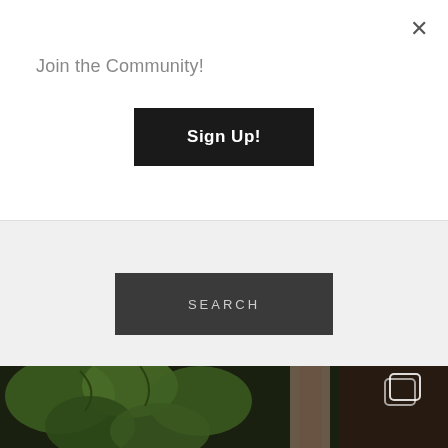×
Join the Community!
Sign Up!
SEARCH
FIND ME HERE!
THESLOTTEDSPOONS
[Figure (photo): Photo of green vine leaves with a bottle, partially visible, dark background with a multiple-image icon overlay in top right corner]